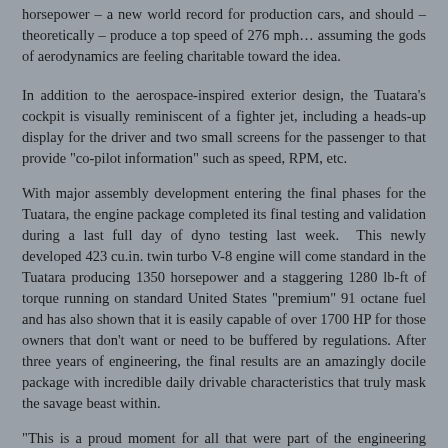horsepower – a new world record for production cars, and should – theoretically – produce a top speed of 276 mph… assuming the gods of aerodynamics are feeling charitable toward the idea.
In addition to the aerospace-inspired exterior design, the Tuatara's cockpit is visually reminiscent of a fighter jet, including a heads-up display for the driver and two small screens for the passenger to that provide "co-pilot information" such as speed, RPM, etc.
With major assembly development entering the final phases for the Tuatara, the engine package completed its final testing and validation during a last full day of dyno testing last week. This newly developed 423 cu.in. twin turbo V-8 engine will come standard in the Tuatara producing 1350 horsepower and a staggering 1280 lb-ft of torque running on standard United States "premium" 91 octane fuel and has also shown that it is easily capable of over 1700 HP for those owners that don't want or need to be buffered by regulations. After three years of engineering, the final results are an amazingly docile package with incredible daily drivable characteristics that truly mask the savage beast within.
"This is a proud moment for all that were part of the engineering team on this project," says Shelby… "This amazingly versatile